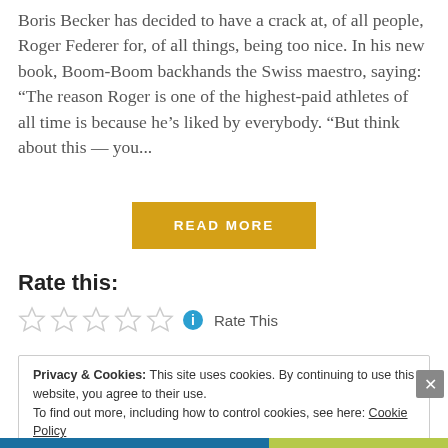Boris Becker has decided to have a crack at, of all people, Roger Federer for, of all things, being too nice. In his new book, Boom-Boom backhands the Swiss maestro, saying: “The reason Roger is one of the highest-paid athletes of all time is because he’s liked by everybody. “But think about this — you...
READ MORE
Rate this:
Rate This
Privacy & Cookies: This site uses cookies. By continuing to use this website, you agree to their use.
To find out more, including how to control cookies, see here: Cookie Policy
Close and accept